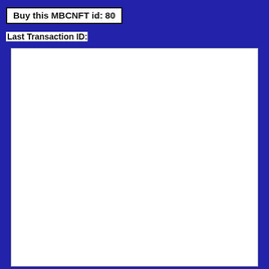Buy this MBCNFT id: 80
Last Transaction ID:
[Figure (other): Large white empty panel with light gray border]